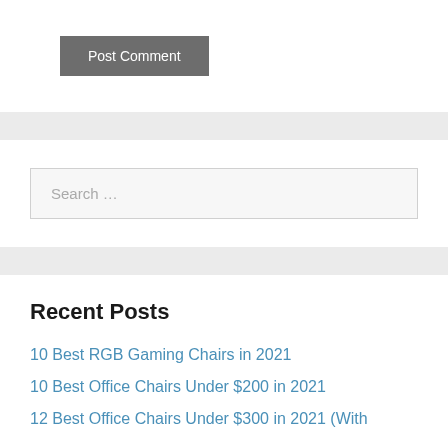Post Comment
Search …
Recent Posts
10 Best RGB Gaming Chairs in 2021
10 Best Office Chairs Under $200 in 2021
12 Best Office Chairs Under $300 in 2021 (With